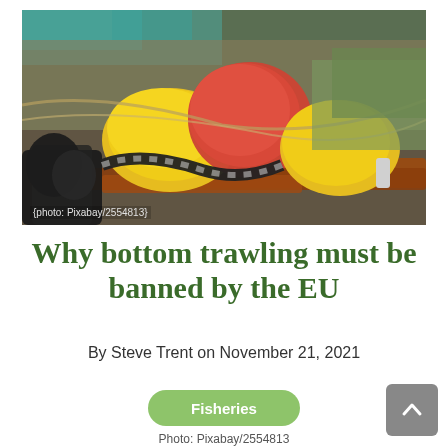[Figure (photo): Fishing gear including colorful buoys (yellow, red, orange), ropes, chains, and nets scattered on a surface. Photo credit: Pixabay/2554813]
{photo: Pixabay/2554813}
Why bottom trawling must be banned by the EU
By Steve Trent on November 21, 2021
Fisheries
Photo: Pixabay/2554813